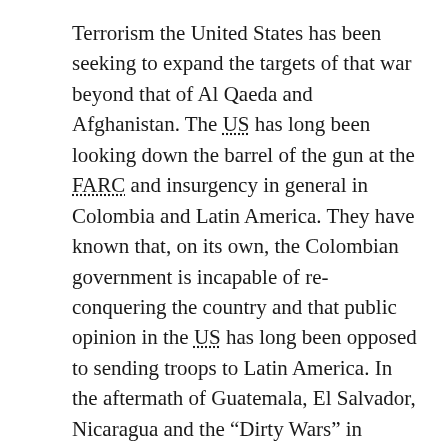Terrorism the United States has been seeking to expand the targets of that war beyond that of Al Qaeda and Afghanistan. The US has long been looking down the barrel of the gun at the FARC and insurgency in general in Colombia and Latin America. They have known that, on its own, the Colombian government is incapable of re-conquering the country and that public opinion in the US has long been opposed to sending troops to Latin America. In the aftermath of Guatemala, El Salvador, Nicaragua and the “Dirty Wars” in Brazil, Argentina and Chile even the notoriously ill informed US public has turned against many of the most brutal policies employed by the US government south of the Rio Grande. It is in this context that the US seeks to make Colombia another front in its War on Terrorism, but clearly there is no tie organizationally or politically between Al Qaeda and the FARC. The United States is attempting to portray Colombia (at least where the FARC operate) as Afghanistan and the FARC as the